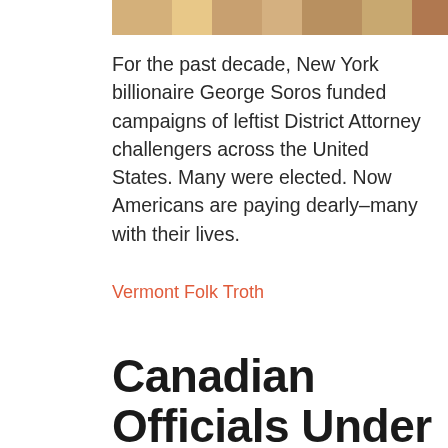[Figure (photo): Partial photo visible at top of page showing people or crowd, cropped at top]
For the past decade, New York billionaire George Soros funded campaigns of leftist District Attorney challengers across the United States. Many were elected. Now Americans are paying dearly–many with their lives.
Vermont Folk Troth
Canadian Officials Under Fire after